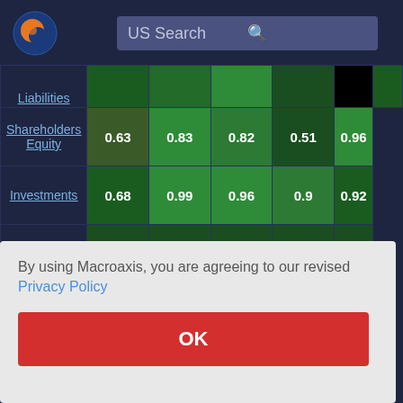[Figure (screenshot): Macroaxis website header with logo and US Search bar]
|  | Col1 | Col2 | Col3 | Col4 | Col5 |
| --- | --- | --- | --- | --- | --- |
| Liabilities |  |  |  |  |  |
| Shareholders Equity | 0.63 | 0.83 | 0.82 | 0.51 | 0.96 |
| Investments | 0.68 | 0.99 | 0.96 | 0.9 | 0.92 |
| Total |  |  |  |  | 1 |
By using Macroaxis, you are agreeing to our revised Privacy Policy
OK